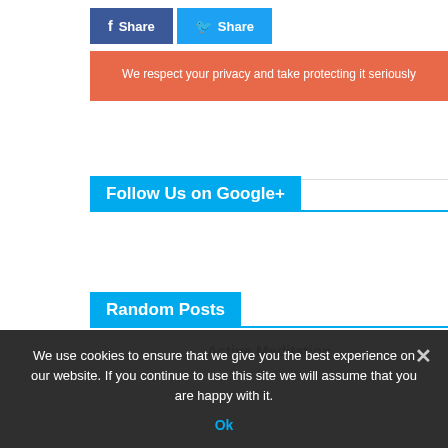[Figure (other): Facebook Share button (dark blue) and Twitter Share button (light blue) side by side]
We respect your privacy and take protecting it seriously
Follow Us on Google+
Random Posts
Active Meditation
Jul 26, 2022
We use cookies to ensure that we give you the best experience on our website. If you continue to use this site we will assume that you are happy with it.
Ok